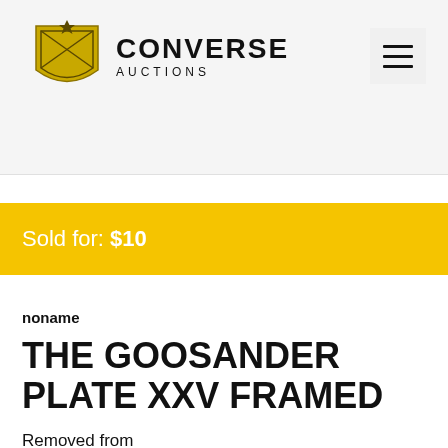[Figure (logo): Converse Auctions logo with shield emblem and hamburger menu icon]
Sold for: $10
noname
THE GOOSANDER PLATE XXV FRAMED
Removed from The Birds of North America book by Jacob Henry Studer. 21 1/2" X 17 1/2"